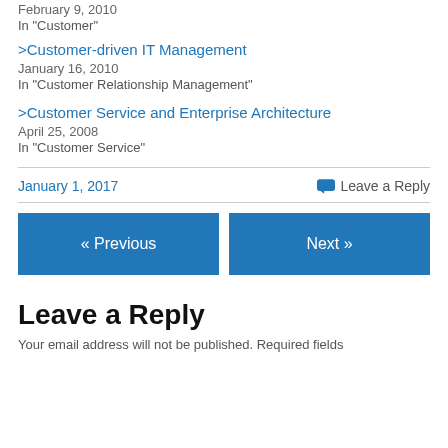February 9, 2010
In "Customer"
>Customer-driven IT Management
January 16, 2010
In "Customer Relationship Management"
>Customer Service and Enterprise Architecture
April 25, 2008
In "Customer Service"
January 1, 2017
Leave a Reply
« Previous
Next »
Leave a Reply
Your email address will not be published. Required fields